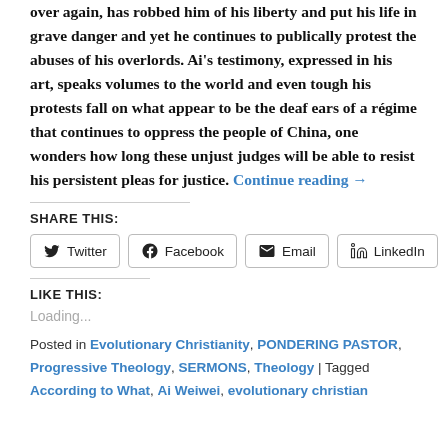over again, has robbed him of his liberty and put his life in grave danger and yet he continues to publically protest the abuses of his overlords. Ai's testimony, expressed in his art, speaks volumes to the world and even tough his protests fall on what appear to be the deaf ears of a régime that continues to oppress the people of China, one wonders how long these unjust judges will be able to resist his persistent pleas for justice. Continue reading →
SHARE THIS:
Twitter | Facebook | Email | LinkedIn
LIKE THIS:
Loading...
Posted in Evolutionary Christianity, PONDERING PASTOR, Progressive Theology, SERMONS, Theology | Tagged According to What, Ai Weiwei, evolutionary christian